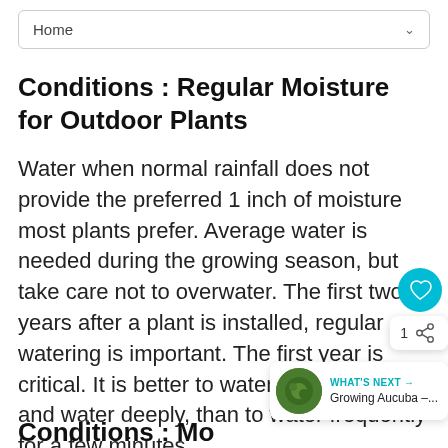Home
Conditions : Regular Moisture for Outdoor Plants
Water when normal rainfall does not provide the preferred 1 inch of moisture most plants prefer. Average water is needed during the growing season, but take care not to overwater. The first two years after a plant is installed, regular watering is important. The first year is critical. It is better to water once a week and water deeply, than to water frequently for a few minutes.
Conditions : Moderate and Well-Drained...